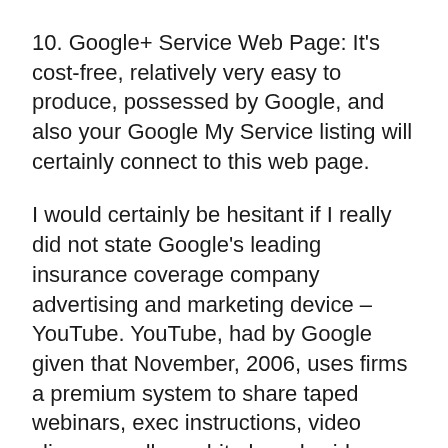10. Google+ Service Web Page: It's cost-free, relatively very easy to produce, possessed by Google, and also your Google My Service listing will certainly connect to this web page.
I would certainly be hesitant if I really did not state Google's leading insurance coverage company advertising and marketing device – YouTube. YouTube, had by Google given that November, 2006, uses firms a premium system to share taped webinars, exec instructions, video clips, as well as white boards video clips.
Caffeine a new index process emerging in digital marketing, gives Google more